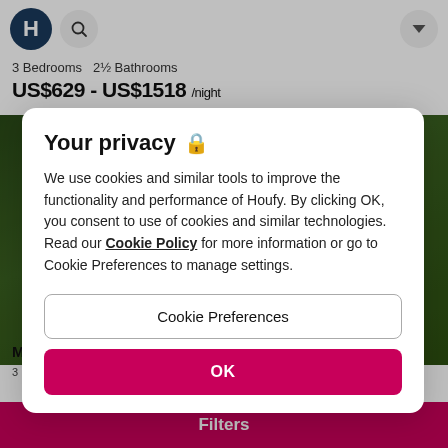[Figure (screenshot): Houfy website header with logo (H in dark circle), search icon, and dropdown button]
3 Bedrooms   2½ Bathrooms
US$629 - US$1518 /night
[Figure (photo): Green forest/trees background image behind property listing]
Your privacy 🔒
We use cookies and similar tools to improve the functionality and performance of Houfy. By clicking OK, you consent to use of cookies and similar technologies. Read our Cookie Policy for more information or go to Cookie Preferences to manage settings.
Cookie Preferences
OK
Mt Baker Lodging
3 Bedrooms   3 Bathrooms
Filters